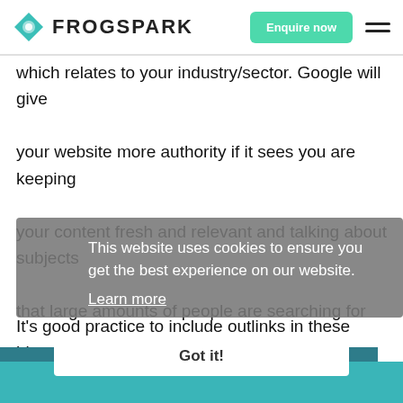FROGSPARK
which relates to your industry/sector. Google will give your website more authority if it sees you are keeping your content fresh and relevant and talking about subjects that large amounts of people are searching for information for at that time.
It’s good practice to include outlinks in these blogs. Link back to the websites you sourced your information from (these should only be authoritative, trusted
This website uses cookies to ensure you get the best experience on our website. Learn more
Got it!
Get in touch